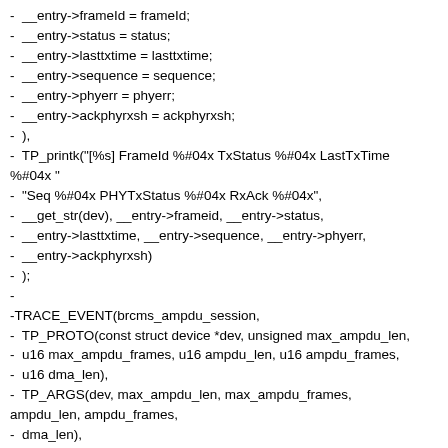-  __entry->frameId = frameId;
-  __entry->status = status;
-  __entry->lasttxtime = lasttxtime;
-  __entry->sequence = sequence;
-  __entry->phyerr = phyerr;
-  __entry->ackphyrxsh = ackphyrxsh;
-  ),
-  TP_printk("[%s] FrameId %#04x TxStatus %#04x LastTxTime %#04x "
-  "Seq %#04x PHYTxStatus %#04x RxAck %#04x",
-  __get_str(dev), __entry->frameid, __entry->status,
-  __entry->lasttxtime, __entry->sequence, __entry->phyerr,
-  __entry->ackphyrxsh)
-  );
-
-TRACE_EVENT(brcms_ampdu_session,
-  TP_PROTO(const struct device *dev, unsigned max_ampdu_len,
-  u16 max_ampdu_frames, u16 ampdu_len, u16 ampdu_frames,
-  u16 dma_len),
-  TP_ARGS(dev, max_ampdu_len, max_ampdu_frames, ampdu_len, ampdu_frames,
-  dma_len),
-  TP_STRUCT__entry(
-  __string(dev, dev_name(dev))
-  __field(unsigned, max_ampdu_len)
-  __field(u16, max_ampdu_frames)